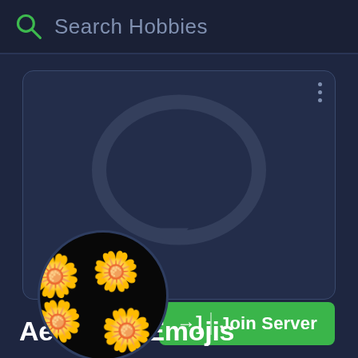Search Hobbies
[Figure (screenshot): Discord server card with chat bubble watermark logo, avatar circle showing yellow flower emojis on black background, three-dot menu icon, and Join Server green button]
Aesthetic Emojis